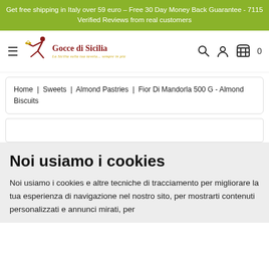Get free shipping in Italy over 59 euro – Free 30 Day Money Back Guarantee - 7115 Verified Reviews from real customers
[Figure (logo): Gocce di Sicilia logo with running figure, red text and gold tagline]
Home | Sweets | Almond Pastries | Fior Di Mandorla 500 G - Almond Biscuits
Noi usiamo i cookies
Noi usiamo i cookies e altre tecniche di tracciamento per migliorare la tua esperienza di navigazione nel nostro sito, per mostrarti contenuti personalizzati e annunci mirati, per